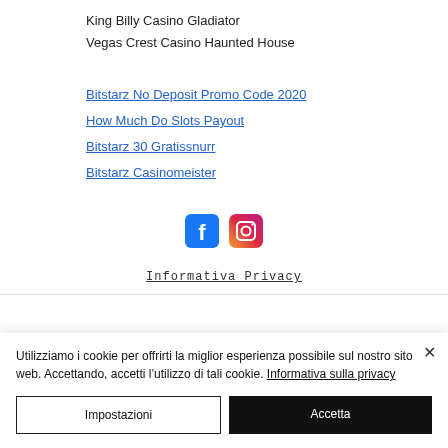King Billy Casino Gladiator
Vegas Crest Casino Haunted House
Bitstarz No Deposit Promo Code 2020
How Much Do Slots Payout
Bitstarz 30 Gratissnurr
Bitstarz Casinomeister
[Figure (logo): Facebook and Instagram social media icons]
Informativa Privacy
Utilizziamo i cookie per offrirti la miglior esperienza possibile sul nostro sito web. Accettando, accetti l’utilizzo di tali cookie. Informativa sulla privacy
Impostazioni
Accetta